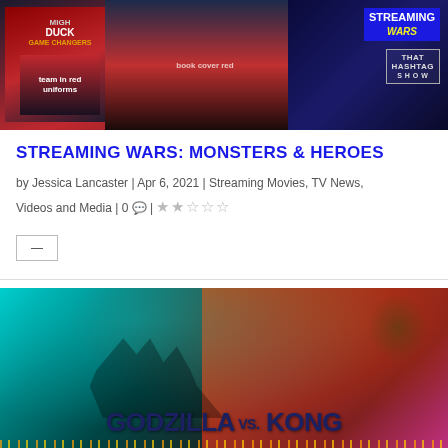[Figure (photo): Streaming Wars: Monsters & Heroes banner image with Mighty Ducks Game Changers poster on the left and Streaming Wars / That Hashtag Show logo on the right]
STREAMING WARS: MONSTERS & HEROES
by Jessica Lancaster | Apr 6, 2021 | Streaming Movies, TV News, Videos and Media | 0 💬 | ★★★★☆
—
[Figure (photo): Godzilla vs. Kong movie poster showing Kong on the left side with a blue/teal cityscape and Godzilla on the right with a red/orange fiery background, with the title text GODZILLA vs. KONG in bold dark blue letters at the bottom]